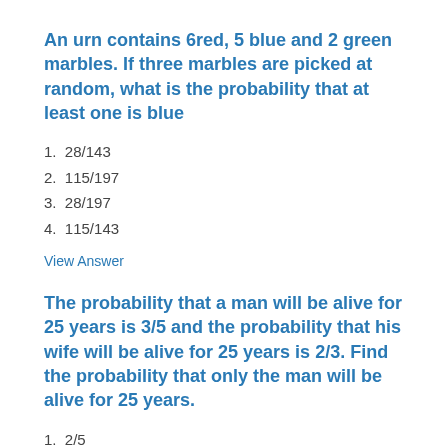An urn contains 6red, 5 blue and 2 green marbles. If three marbles are picked at random, what is the probability that at least one is blue
1.  28/143
2.  115/197
3.  28/197
4.  115/143
View Answer
The probability that a man will be alive for 25 years is 3/5 and the probability that his wife will be alive for 25 years is 2/3. Find the probability that only the man will be alive for 25 years.
1.  2/5
2.  1/5